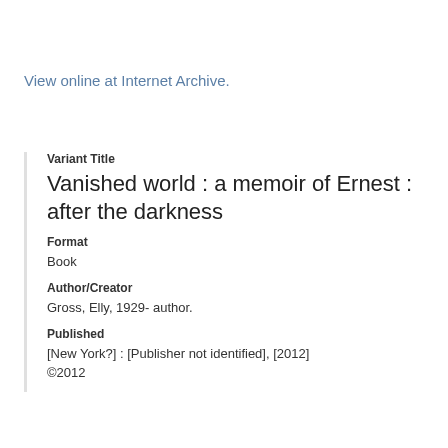View online at Internet Archive.
Variant Title
Vanished world : a memoir of Ernest : after the darkness
Format
Book
Author/Creator
Gross, Elly, 1929- author.
Published
[New York?] : [Publisher not identified], [2012]
©2012